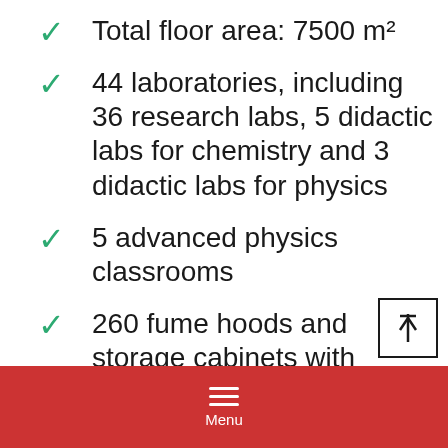Total floor area: 7500 m²
44 laboratories, including 36 research labs, 5 didactic labs for chemistry and 3 didactic labs for physics
5 advanced physics classrooms
260 fume hoods and storage cabinets with extractor hood
Menu